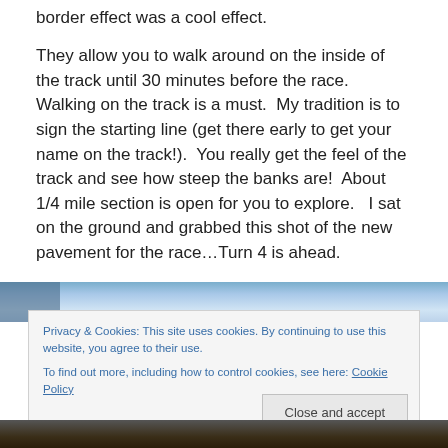border effect was a cool effect.
They allow you to walk around on the inside of the track until 30 minutes before the race.  Walking on the track is a must.  My tradition is to sign the starting line (get there early to get your name on the track!).  You really get the feel of the track and see how steep the banks are!  About 1/4 mile section is open for you to explore.   I sat on the ground and grabbed this shot of the new pavement for the race…Turn 4 is ahead.
[Figure (photo): A photo of a racetrack with a blue sky above; a cookie consent banner overlays the image with text about privacy and cookies, and a 'Close and accept' button.]
Privacy & Cookies: This site uses cookies. By continuing to use this website, you agree to their use.
To find out more, including how to control cookies, see here: Cookie Policy
Close and accept